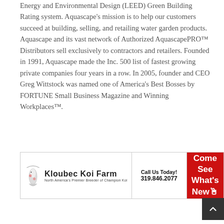Energy and Environmental Design (LEED) Green Building Rating system. Aquascape's mission is to help our customers succeed at building, selling, and retailing water garden products. Aquascape and its vast network of Authorized AquascapePRO™ Distributors sell exclusively to contractors and retailers. Founded in 1991, Aquascape made the Inc. 500 list of fastest growing private companies four years in a row. In 2005, founder and CEO Greg Wittstock was named one of America's Best Bosses by FORTUNE Small Business Magazine and Winning Workplaces™.
[Figure (other): Advertisement banner for Kloubec Koi Farm showing logo with koi fish illustration, text 'North America's Premier Breeder of Champion Koi', phone number 319.846.2077, and red button saying 'Come See What's New']